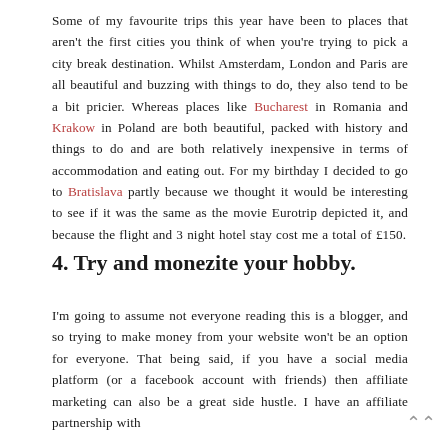Some of my favourite trips this year have been to places that aren't the first cities you think of when you're trying to pick a city break destination. Whilst Amsterdam, London and Paris are all beautiful and buzzing with things to do, they also tend to be a bit pricier. Whereas places like Bucharest in Romania and Krakow in Poland are both beautiful, packed with history and things to do and are both relatively inexpensive in terms of accommodation and eating out. For my birthday I decided to go to Bratislava partly because we thought it would be interesting to see if it was the same as the movie Eurotrip depicted it, and because the flight and 3 night hotel stay cost me a total of £150.
4. Try and monezite your hobby.
I'm going to assume not everyone reading this is a blogger, and so trying to make money from your website won't be an option for everyone. That being said, if you have a social media platform (or a facebook account with friends) then affiliate marketing can also be a great side hustle. I have an affiliate partnership with